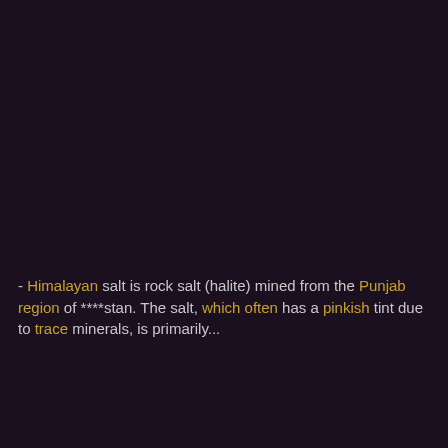- Himalayan salt is rock salt (halite) mined from the Punjab region of ****stan. The salt, which often has a pinkish tint due to trace minerals, is primarily...